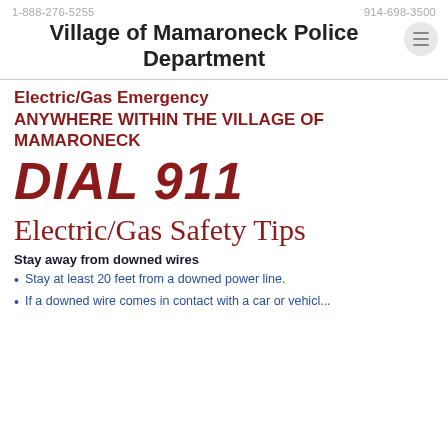1-888-276-5255 | 914-698-3500 | Village of Mamaroneck Police Department
Electric/Gas Emergency ANYWHERE WITHIN THE VILLAGE OF MAMARONECK
DIAL 911
Electric/Gas Safety Tips
Stay away from downed wires
Stay at least 20 feet from a downed power line.
If a downed wire comes in contact with a car or vehicle...